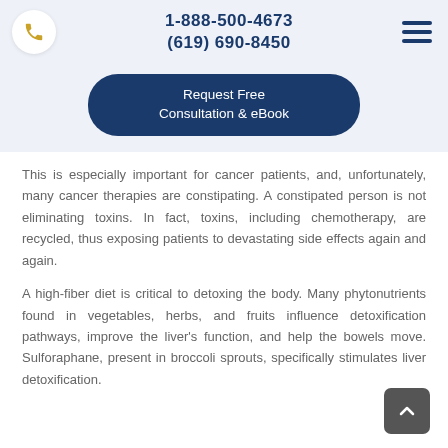1-888-500-4673
(619) 690-8450
Request Free Consultation & eBook
This is especially important for cancer patients, and, unfortunately, many cancer therapies are constipating. A constipated person is not eliminating toxins. In fact, toxins, including chemotherapy, are recycled, thus exposing patients to devastating side effects again and again.
A high-fiber diet is critical to detoxing the body. Many phytonutrients found in vegetables, herbs, and fruits influence detoxification pathways, improve the liver's function, and help the bowels move. Sulforaphane, present in broccoli sprouts, specifically stimulates liver detoxification.